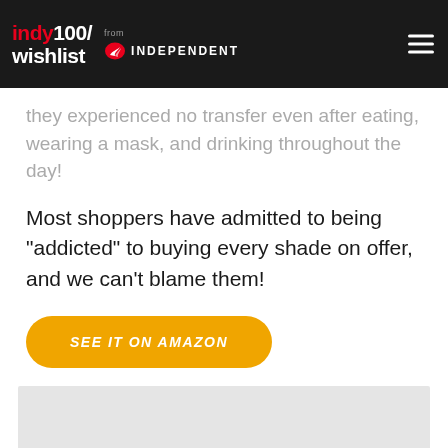indy100/wishlist from INDEPENDENT
they experienced no transfer even after eating, wearing a mask, and drinking throughout the day!
Most shoppers have admitted to being "addicted" to buying every shade on offer, and we can't blame them!
SEE IT ON AMAZON
[Figure (photo): Gray placeholder image area at bottom of page]